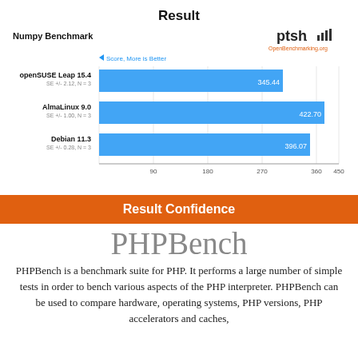Result
[Figure (bar-chart): Numpy Benchmark]
Result Confidence
PHPBench
PHPBench is a benchmark suite for PHP. It performs a large number of simple tests in order to bench various aspects of the PHP interpreter. PHPBench can be used to compare hardware, operating systems, PHP versions, PHP accelerators and caches,